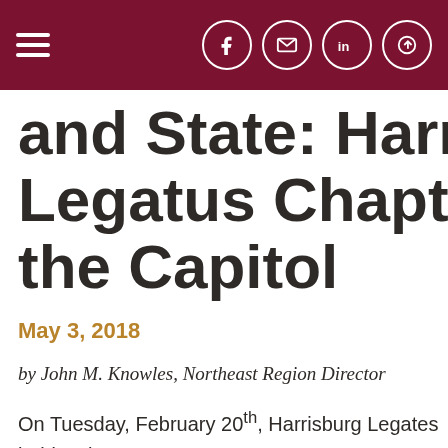Navigation and social icons header bar
and State: Harrisburg Legatus Chapter Me... the Capitol
May 3, 2018
by John M. Knowles, Northeast Region Director
On Tuesday, February 20th, Harrisburg Legates held a cha... any other. The entire evening took place within the hallo... Pennsylvania Capitol Building in downtown Harrisburg...